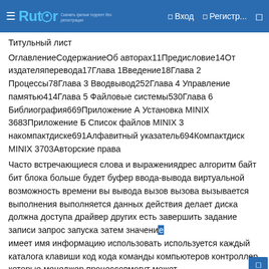☰ Rutor  Вход  Регистр...
Титульный лист
ОглавлениеСодержаниеОб авторах11Предисловие14От издателяперевода17Глава 1Введение18Глава 2 Процессы78Глава 3 Вводвывод252Глава 4 Управление памятью414Глава 5 Файловые системы530Глава 6 Библиография669Приложение А Установка MINIX 3683Приложение Б Список файлов MINIX 3 накомпактдиске691Алфавитный указатель694Компактдиск MINIX 3703Авторские права
Часто встречающиеся слова и выражениядрес алгоритм байт бит блока больше будет буфер ввода-вывода виртуальной возможность времени вы вывода вызов вызова вызывается выполнения выполняется данных действия делает диска должна доступа драйвер других есть завершить задание записи запрос запуска затем значение имеет имя информацию использовать используется каждый каталога клавиши код кода команды компьютеров контроллер которые менеджер процессовмогут может можно момент например находится некоторые необходимо